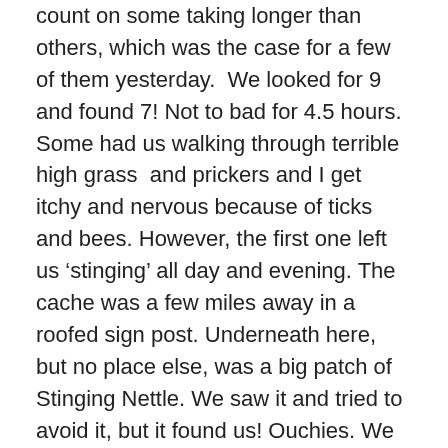count on some taking longer than others, which was the case for a few of them yesterday.  We looked for 9 and found 7! Not to bad for 4.5 hours. Some had us walking through terrible high grass  and prickers and I get itchy and nervous because of ticks and bees. However, the first one left us ‘stinging’ all day and evening. The cache was a few miles away in a roofed sign post. Underneath here, but no place else, was a big patch of Stinging Nettle. We saw it and tried to avoid it, but it found us! Ouchies. We should have gone home to take care of that, but we didn’t do that. And no cache to be found. The same person hid this one and the one down the road that we never found (though someone told me where he thought he found it,  just haven’t gone to look again).
So the next stop was a ‘dog park’. We think we missed the